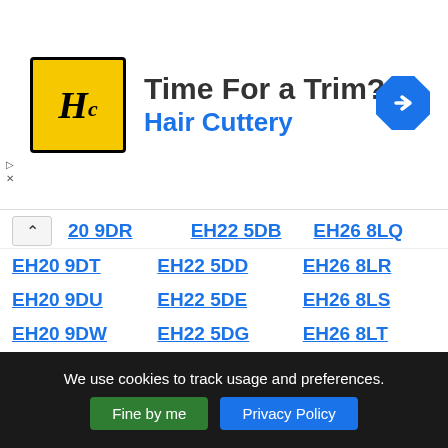[Figure (other): Hair Cuttery advertisement banner with logo, 'Time For a Trim?' headline, and blue navigation arrow icon]
20 9DR | EH22 5DB | EH26 8LQ
EH20 9DT | EH22 5DD | EH26 8LR
EH20 9DU | EH22 5DE | EH26 8LS
EH20 9DW | EH22 5DG | EH26 8LT
EH20 9DX | EH22 5DN | EH26 8LU
EH20 9DY | EH22 5DP | EH26 8LW
EH20 9DZ | EH22 5DQ | EH26 8LX
EH20 9EA | EH22 5DT | EH26 8LY
EH20 9EB | EH22 5DW | EH26 8LZ
We use cookies to track usage and preferences. Fine by me  Privacy Policy